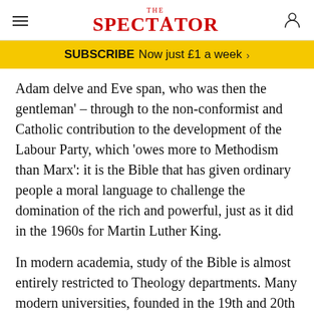THE SPECTATOR
SUBSCRIBE  Now just £1 a week  >
Adam delve and Eve span, who was then the gentleman’ – through to the non-conformist and Catholic contribution to the development of the Labour Party, which ‘owes more to Methodism than Marx’: it is the Bible that has given ordinary people a moral language to challenge the domination of the rich and powerful, just as it did in the 1960s for Martin Luther King.
In modern academia, study of the Bible is almost entirely restricted to Theology departments. Many modern universities, founded in the 19th and 20th centuries on self-consciously ‘secular’ lines,